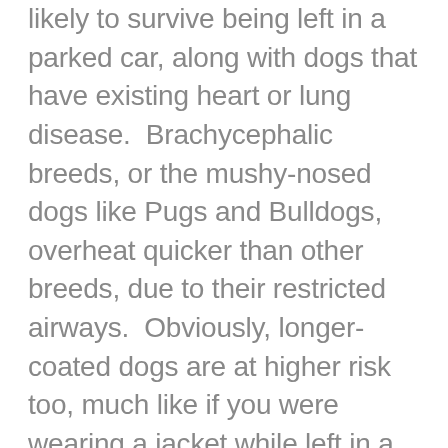likely to survive being left in a parked car, along with dogs that have existing heart or lung disease.  Brachycephalic breeds, or the mushy-nosed dogs like Pugs and Bulldogs, overheat quicker than other breeds, due to their restricted airways.  Obviously, longer-coated dogs are at higher risk too, much like if you were wearing a jacket while left in a hot vehicle.  As a behaviorist, I imagine dogs with anxiety are high on the list of fatalities as well.  Considering how much energy the body consumes to be anxious (ie: panting, pacing, whining or barking, hyper-salivating, increased heart rate, etc), the dog's body resources become depleted sooner, implying they would parish faster than non-anxious